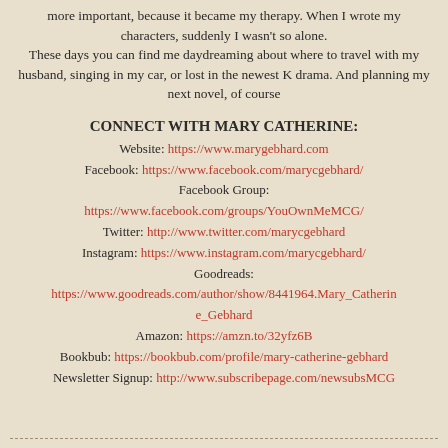more important, because it became my therapy. When I wrote my characters, suddenly I wasn't so alone. These days you can find me daydreaming about where to travel with my husband, singing in my car, or lost in the newest K drama. And planning my next novel, of course
CONNECT WITH MARY CATHERINE:
Website: https://www.marygebhard.com
Facebook: https://www.facebook.com/marycgebhard/
Facebook Group:
https://www.facebook.com/groups/YouOwnMeMCG/
Twitter: http://www.twitter.com/marycgebhard
Instagram: https://www.instagram.com/marycgebhard/
Goodreads:
https://www.goodreads.com/author/show/8441964.Mary_Catherine_Gebhard
Amazon: https://amzn.to/32yfz6B
Bookbub: https://bookbub.com/profile/mary-catherine-gebhard
Newsletter Signup: http://www.subscribepage.com/newsubsMCG
- - - - - - - - - - - - - - - - - - - - - - - - - - - - - - - - - - - - - - - - - - -